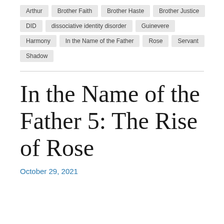Arthur
Brother Faith
Brother Haste
Brother Justice
DID
dissociative identity disorder
Guinevere
Harmony
In the Name of the Father
Rose
Servant
Shadow
In the Name of the Father 5: The Rise of Rose
October 29, 2021